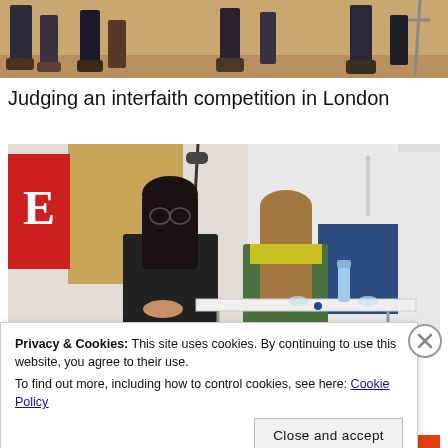[Figure (photo): Top of page: partial photo showing people's legs and feet on a wooden floor at what appears to be an event or competition]
Judging an interfaith competition in London
[Figure (photo): Two women seated at a desk/table in what appears to be a classroom or event space. A red sign with the letter E is visible on the left. One woman wears black, the other wears a green/yellow top. Water bottle and glasses on the table.]
Privacy & Cookies: This site uses cookies. By continuing to use this website, you agree to their use.
To find out more, including how to control cookies, see here: Cookie Policy
[Figure (screenshot): Bottom partial strip showing a red banner with text partially visible]